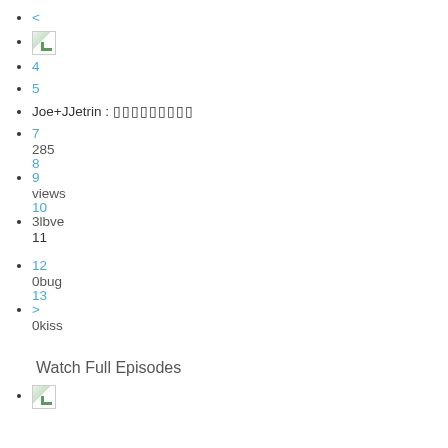<
[image]
4
5
Joe+JJetrin : [boxes]
7
285
8
9
views
10
3lbve
11
12
0bug
13
>
0kiss
Watch Full Episodes
[image]
Joe+JJetrin : [boxes]